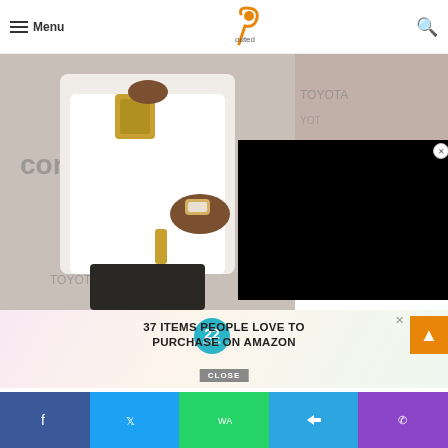Menu | Outed [logo] | Search
[Figure (photo): Person in white long-sleeve shirt and dark pants holding a gold object, with Complex and Toyota branded backdrop. A large black video overlay panel appears on the right side with a close (X) button.]
[Figure (infographic): Advertisement strip with '22 Words' teal circular badge and text '37 ITEMS PEOPLE LOVE TO PURCHASE ON AMAZON' with a close button and orange up-arrow button]
Facebook | Twitter | WhatsApp | Telegram | Phone